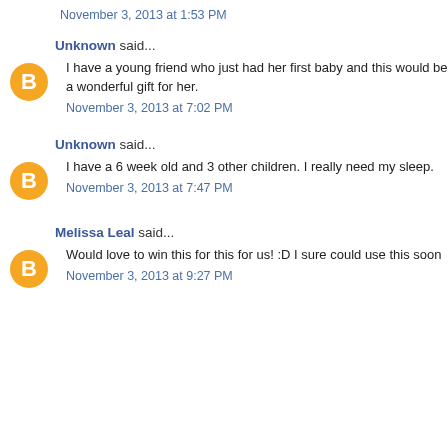November 3, 2013 at 1:53 PM
Unknown said...
I have a young friend who just had her first baby and this would be a wonderful gift for her.
November 3, 2013 at 7:02 PM
Unknown said...
I have a 6 week old and 3 other children. I really need my sleep.
November 3, 2013 at 7:47 PM
Melissa Leal said...
Would love to win this for this for us! :D I sure could use this soon
November 3, 2013 at 9:27 PM